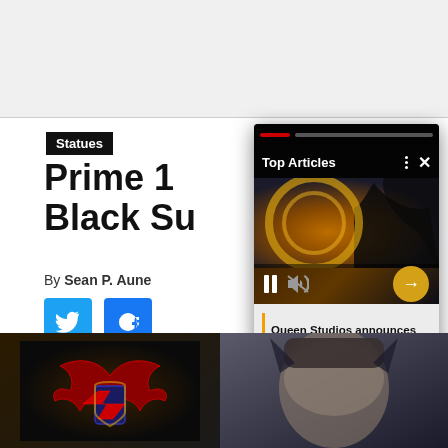[Figure (screenshot): Top gray browser bar area]
Statues
Prime 1
Black Su
By Sean P. Aune
[Figure (screenshot): Twitter share button]
[Figure (screenshot): Facebook share button]
[Figure (screenshot): Video overlay card showing Batman figure with Top Articles header, pause/mute controls, and caption: Queen Studios announces 1/6 scale The Batman figures]
Queen Studios announces 1/6 scale The Batman figures
[Figure (photo): Bottom strip: Batman v Superman logo on left, face close-up on right, dark background]